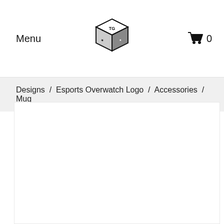Menu
Designs / Esports Overwatch Logo / Accessories / Mug
[Figure (other): Empty white content area / product image placeholder]